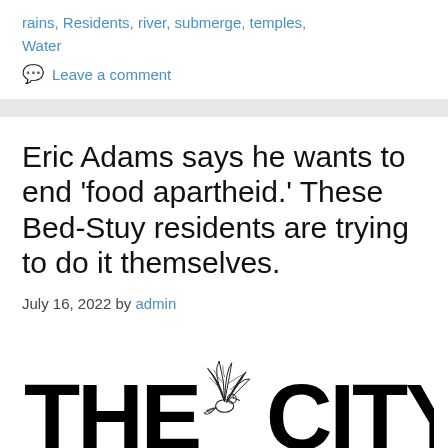rains, Residents, river, submerge, temples, Water
Leave a comment
Eric Adams says he wants to end 'food apartheid.' These Bed-Stuy residents are trying to do it themselves.
July 16, 2022 by admin
[Figure (logo): THE CITY logo with a bird (dove/eagle) illustration between 'THE' and 'CITY' text in large bold black letters]